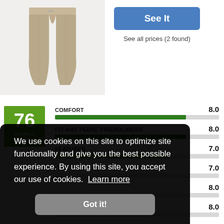[Figure (photo): Product photo of khaki/tan cycling shorts with a small logo visible at the waistband, shown on a light gray background]
See It
See all prices (2 found)
[Figure (infographic): Overall score badge showing 76 in a green square with OVERALL SCORE label below]
COMFORT 8.0
FIT AND PEDAL FRIENDLINESS 8.0
FEATURES 7.0
7.0
8.0
8.0
We use cookies on this site to optimize site functionality and give you the best possible experience. By using this site, you accept our use of cookies. Learn more
Got it!